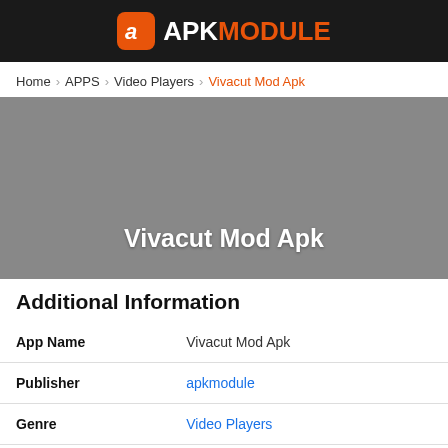APK MODULE
Home / APPS / Video Players / Vivacut Mod Apk
[Figure (illustration): Gray banner image with white bold text reading 'Vivacut Mod Apk']
Additional Information
| Field | Value |
| --- | --- |
| App Name | Vivacut Mod Apk |
| Publisher | apkmodule |
| Genre | Video Players |